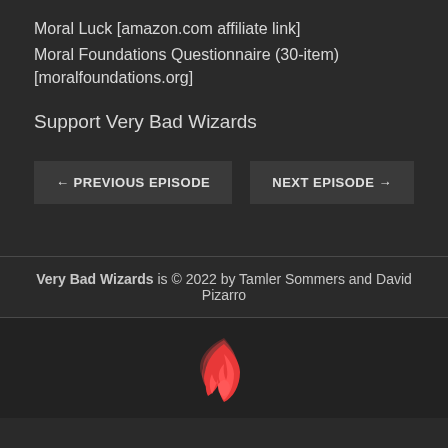Moral Luck [amazon.com affiliate link]
Moral Foundations Questionnaire (30-item) [moralfoundations.org]
Support Very Bad Wizards
← PREVIOUS EPISODE
NEXT EPISODE →
Very Bad Wizards is © 2022 by Tamler Sommers and David Pizarro
[Figure (logo): Red flame logo icon for Very Bad Wizards]